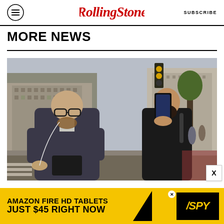RollingStone | SUBSCRIBE
MORE NEWS
[Figure (photo): An elderly bald man wearing glasses and a patterned face mask pulled down around his neck, in a grey suit jacket, looking at his phone while walking on a city street. Behind him, a younger bearded man in a dark jacket holds up a phone filming him. City buildings and a yellow traffic light visible in the background.]
[Figure (advertisement): Amazon Fire HD Tablets advertisement in yellow and black: 'AMAZON FIRE HD TABLETS JUST $45 RIGHT NOW' with SPY logo in black and yellow.]